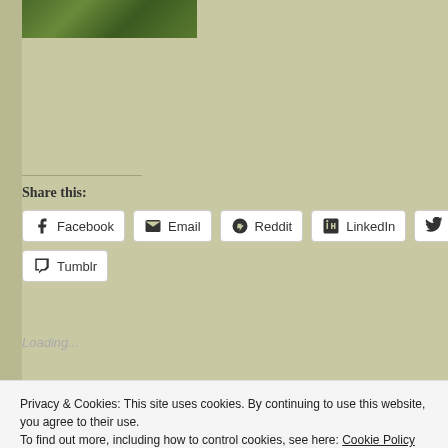[Figure (photo): Small cropped photo showing green foliage/plants at top left]
Share this:
Facebook | Email | Reddit | LinkedIn | Twitter | Tumblr (social share buttons)
Loading...
Privacy & Cookies: This site uses cookies. By continuing to use this website, you agree to their use. To find out more, including how to control cookies, see here: Cookie Policy
Close and accept